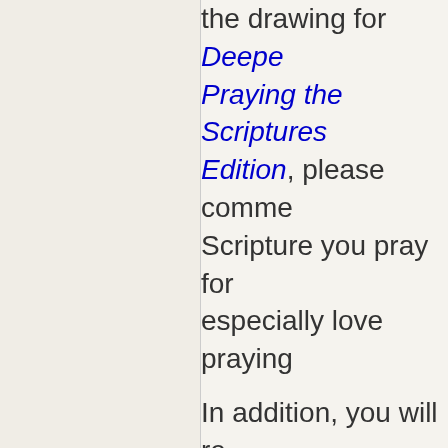the drawing for Deeper Praying the Scriptures Edition, please comme Scripture you pray for especially love praying In addition, you will re followed on Google+, liking on facebook with the post) and/or have email. For each of thes receive one entry. In a you'll receive an additi you share). This will he among people who wo Grandparents & Paren the Children You l